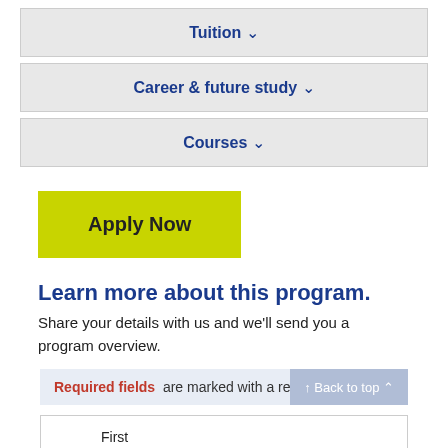Tuition ∨
Career & future study ∨
Courses ∨
Apply Now
Learn more about this program.
Share your details with us and we'll send you a program overview.
Required fields  are marked with a red symbol ( * )
First
Name *